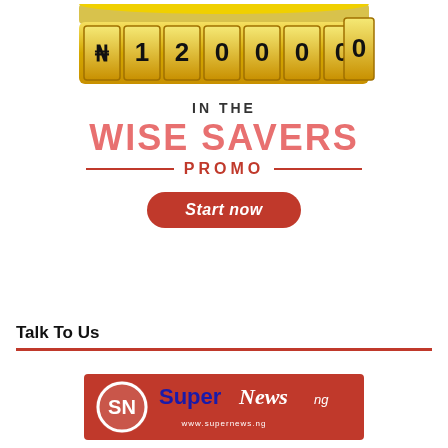[Figure (illustration): Gold slot machine/combination lock display showing '₦120,000,000' with stacked gold coin tiles on top]
IN THE
WISE SAVERS PROMO
[Figure (illustration): Red pill-shaped 'Start now' button in italic font]
Talk To Us
[Figure (logo): SuperNews.ng logo on red background with SN circular icon and blue/white text]